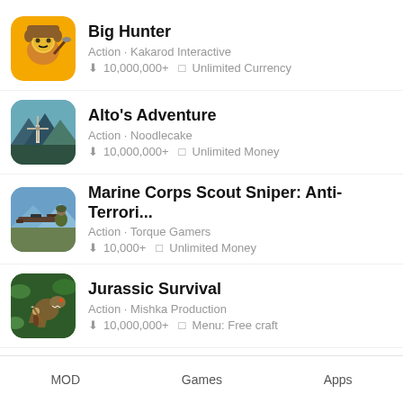Big Hunter
Action · Kakarod Interactive
⬇ 10,000,000+   □ Unlimited Currency
Alto's Adventure
Action · Noodlecake
⬇ 10,000,000+   □ Unlimited Money
Marine Corps Scout Sniper: Anti-Terrori...
Action · Torque Gamers
⬇ 10,000+   □ Unlimited Money
Jurassic Survival
Action · Mishka Production
⬇ 10,000,000+   □ Menu: Free craft
Kinja Run
MOD   Games   Apps